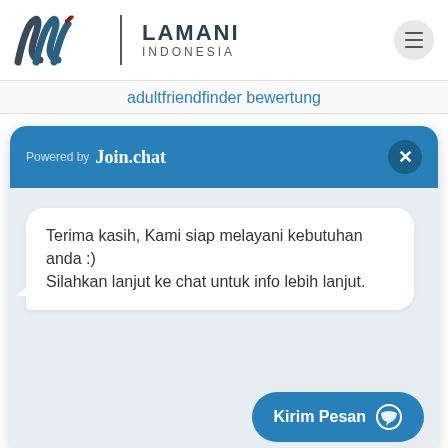[Figure (logo): Lamani Indonesia logo with stylized wave/flag mark in dark gray and dark red, vertical divider, and text LAMANI INDONESIA]
adultfriendfinder bewertung
[Figure (screenshot): Join.chat widget with blue header showing 'Powered by Join.chat' and close button, chat bubble saying 'Terima kasih, Kami siap melayani kebutuhan anda :) Silahkan lanjut ke chat untuk info lebih lanjut.' and a blue 'Kirim Pesan' send button]